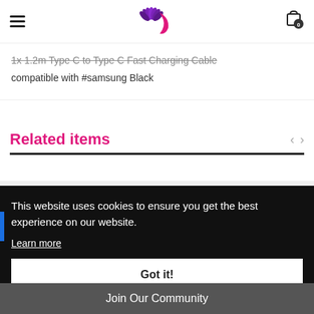Navigation header with hamburger menu, logo, and cart icon (0 items)
1x 1.2m Type C to Type C Fast Charging Cable compatible with #samsung Black
Related items
[Figure (screenshot): Cookie consent banner with text 'This website uses cookies to ensure you get the best experience on our website.' with Learn more link and Got it! button]
Join Our Community